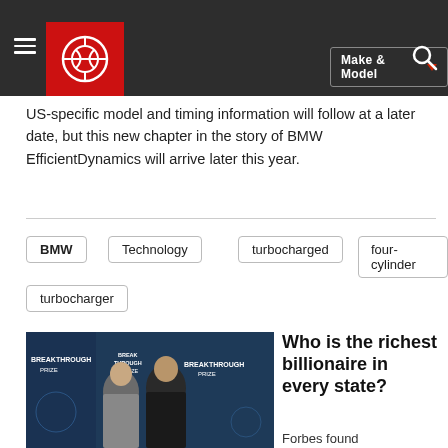Make & Model navigation bar with logo
US-specific model and timing information will follow at a later date, but this new chapter in the story of BMW EfficientDynamics will arrive later this year.
BMW
Technology
turbocharged
four-cylinder
turbocharger
[Figure (photo): Two people at a Breakthrough Prize event on a blue branded backdrop]
Who is the richest billionaire in every state?
Forbes found